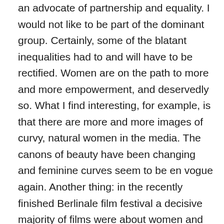an advocate of partnership and equality. I would not like to be part of the dominant group. Certainly, some of the blatant inequalities had to and will have to be rectified. Women are on the path to more and more empowerment, and deservedly so. What I find interesting, for example, is that there are more and more images of curvy, natural women in the media. The canons of beauty have been changing and feminine curves seem to be en vogue again. Another thing: in the recently finished Berlinale film festival a decisive majority of films were about women and their problems. Critics talked about a female dominated festival. If films are our collective dream, then perhaps the human race is dreaming about the power of the goddess. It is the common woman, the one who always stood behind her husband, sacrificing her own development that is going to gain a higher profile. In Poland, where I was born, the